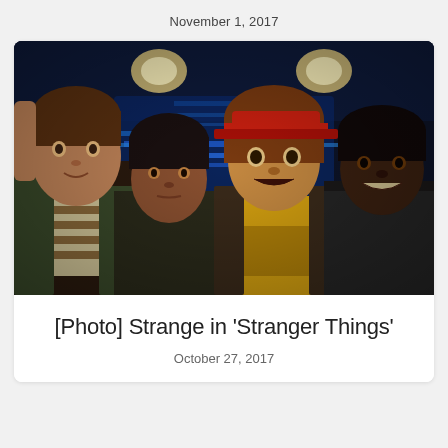November 1, 2017
[Figure (photo): Four young boys from the TV show Stranger Things looking surprised or alarmed, lit with blue background lighting, one wearing a red hat, one in a yellow shirt.]
[Photo] Strange in ‘Stranger Things’
October 27, 2017